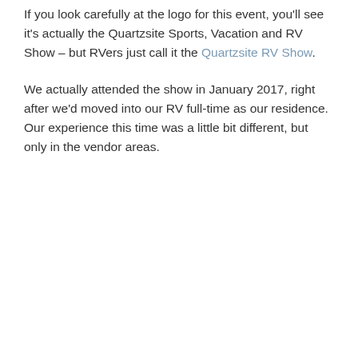If you look carefully at the logo for this event, you'll see it's actually the Quartzsite Sports, Vacation and RV Show – but RVers just call it the Quartzsite RV Show.
We actually attended the show in January 2017, right after we'd moved into our RV full-time as our residence. Our experience this time was a little bit different, but only in the vendor areas.